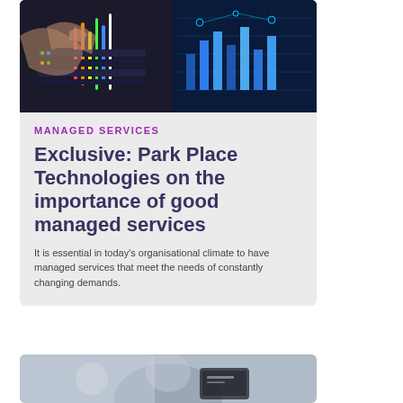[Figure (photo): Photo of hands working with network server cables and equipment, with digital charts/graphs visible on a screen in the background. Dark blue tones with colorful cables.]
MANAGED SERVICES
Exclusive: Park Place Technologies on the importance of good managed services
It is essential in today's organisational climate to have managed services that meet the needs of constantly changing demands.
[Figure (photo): Partial photo at bottom of page, showing a person with a device, blurred background.]